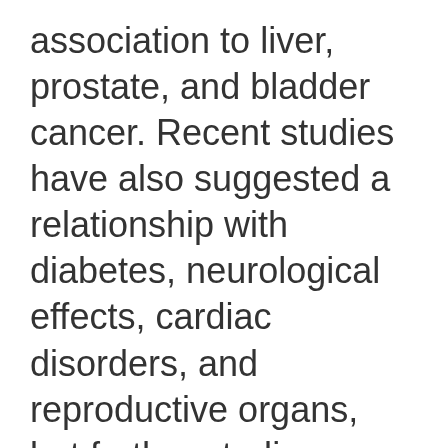association to liver, prostate, and bladder cancer. Recent studies have also suggested a relationship with diabetes, neurological effects, cardiac disorders, and reproductive organs, but further studies are required to confirm these associations. The majority of research to date has examined cancer incidence after a high exposure to high